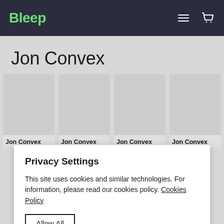Bleep
Jon Convex
[Figure (screenshot): Four product card placeholders each labeled 'Jon Convex' with grey image areas on a light grey background]
Privacy Settings
This site uses cookies and similar technologies. For information, please read our cookies policy. Cookies Policy
Allow All
Manage Consent Preferences